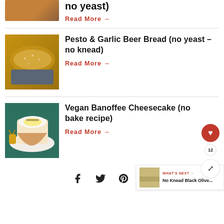[Figure (photo): Partial view of a brown bread loaf at top of page]
no yeast)
Read More →
[Figure (photo): Pesto and garlic beer bread in a loaf pan, dusted with flour]
Pesto & Garlic Beer Bread (no yeast - no knead)
Read More →
[Figure (photo): Vegan Banoffee Cheesecake slice with caramel sauce on white plate]
Vegan Banoffee Cheesecake (no bake recipe)
Read More →
WHAT'S NEXT → No Knead Black Olive...